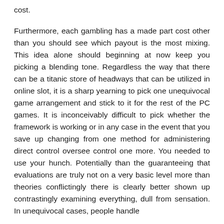cost.

Furthermore, each gambling has a made part cost other than you should see which payout is the most mixing. This idea alone should beginning at now keep you picking a blending tone. Regardless the way that there can be a titanic store of headways that can be utilized in online slot, it is a sharp yearning to pick one unequivocal game arrangement and stick to it for the rest of the PC games. It is inconceivably difficult to pick whether the framework is working or in any case in the event that you save up changing from one method for administering direct control oversee control one more. You needed to use your hunch. Potentially than the guaranteeing that evaluations are truly not on a very basic level more than theories conflictingly there is clearly better shown up contrastingly examining everything, dull from sensation. In unequivocal cases, people handle